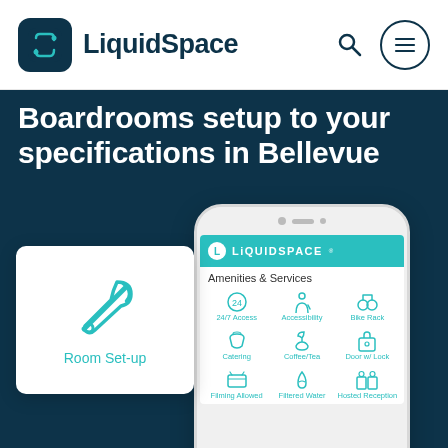[Figure (logo): LiquidSpace logo with teal/dark icon and bold text]
Boardrooms setup to your specifications in Bellevue
[Figure (screenshot): Mobile phone screenshot showing LiquidSpace app with Amenities & Services screen including 24/7 Access, Accessibility, Bike Rack, Catering, Coffee/Tea, Door w/ Lock, Filming Allowed, Filtered Water, Hosted Reception amenity icons in teal. Overlaid with a white card showing a wrench/screwdriver icon and text 'Room Set-up'.]